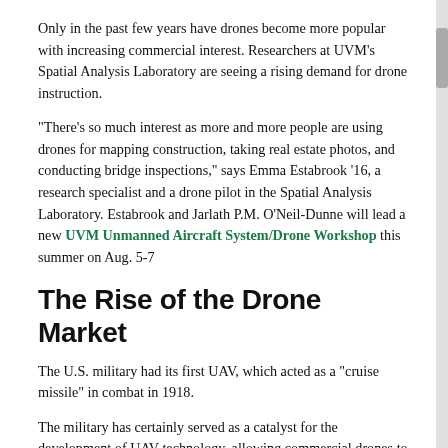Only in the past few years have drones become more popular with increasing commercial interest. Researchers at UVM's Spatial Analysis Laboratory are seeing a rising demand for drone instruction.
“There’s so much interest as more and more people are using drones for mapping construction, taking real estate photos, and conducting bridge inspections,” says Emma Estabrook ’16, a research specialist and a drone pilot in the Spatial Analysis Laboratory. Estabrook and Jarlath P.M. O’Neil-Dunne will lead a new UVM Unmanned Aircraft System/Drone Workshop this summer on Aug. 5-7
The Rise of the Drone Market
The U.S. military had its first UAV, which acted as a “cruise missile” in combat in 1918.
The military has certainly served as a catalyst for the development of UAV technology, allowing commercial drones to become cheaper, lighter, and more sophisticated. Today, drones serve many functions, ranging from monitoring climate change and carrying out search operations to aerial photography and delivering goods.